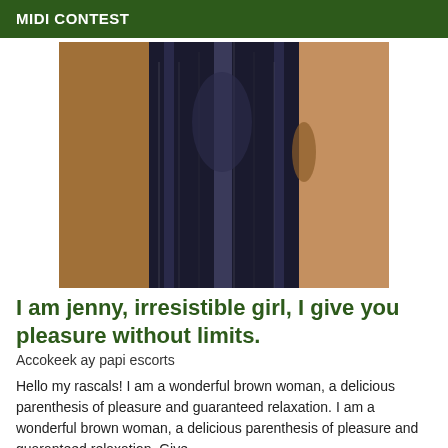MIDI CONTEST
[Figure (photo): Person wearing decorative black patterned pants/jumpsuit, shown from waist down, against a brown background.]
I am jenny, irresistible girl, I give you pleasure without limits.
Accokeek ay papi escorts
Hello my rascals! I am a wonderful brown woman, a delicious parenthesis of pleasure and guaranteed relaxation. I am a wonderful brown woman, a delicious parenthesis of pleasure and guaranteed relaxation. Give